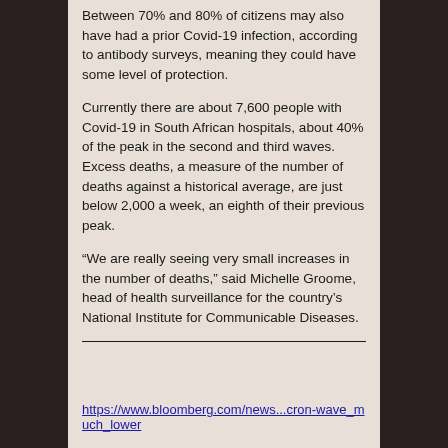Between 70% and 80% of citizens may also have had a prior Covid-19 infection, according to antibody surveys, meaning they could have some level of protection.
Currently there are about 7,600 people with Covid-19 in South African hospitals, about 40% of the peak in the second and third waves. Excess deaths, a measure of the number of deaths against a historical average, are just below 2,000 a week, an eighth of their previous peak.
“We are really seeing very small increases in the number of deaths,” said Michelle Groome, head of health surveillance for the country’s National Institute for Communicable Diseases.
https://www.bloomberg.com/news...cron-wave_much_lower